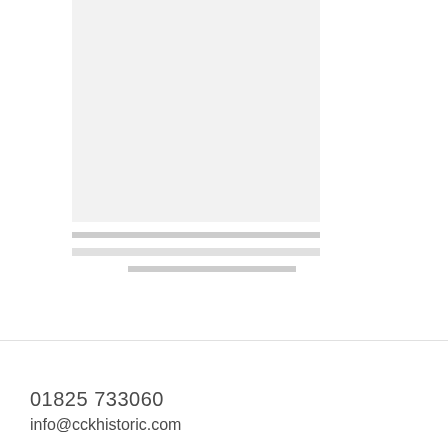[Figure (photo): Placeholder image area with light gray background]
01825 733060
info@cckhistoric.com